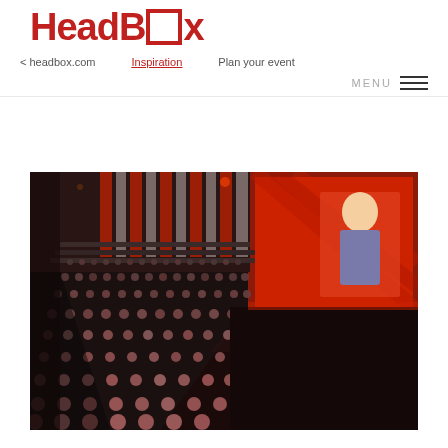HeadBox
< headbox.com   Inspiration   Plan your event   MENU
[Figure (photo): Large conference hall photographed from above-left, showing a packed audience of hundreds of people seated in rows facing a stage. On the right side is a large red-themed projection screen showing a presenter in a suit jacket. The venue has dramatic red and white striped decor elements on the back wall.]